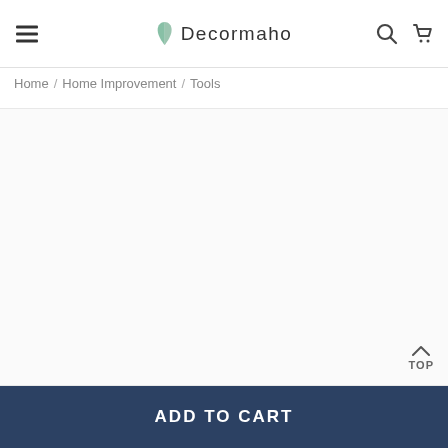Decormaho
Home / Home Improvement / Tools
[Figure (other): Empty product image area with white/light gray background]
TOP
ADD TO CART